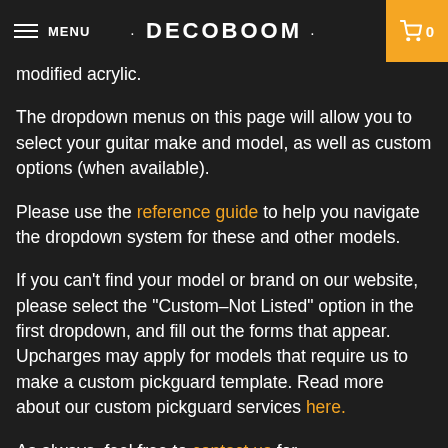MENU · DECOBOOM · 0
modified acrylic.
The dropdown menus on this page will allow you to select your guitar make and model, as well as custom options (when available).
Please use the reference guide to help you navigate the dropdown system for these and other models.
If you can't find your model or brand on our website, please select the "Custom–Not Listed" option in the first dropdown, and fill out the forms that appear. Upcharges may apply for models that require us to make a custom pickguard template. Read more about our custom pickguard services here.
As always, feel free to contact us for